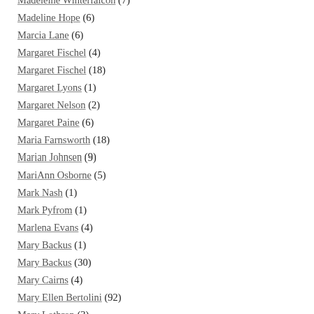Madeleine Winterfalcon (7)
Madeline Hope (6)
Marcia Lane (6)
Margaret Fischel (4)
Margaret Fischel (18)
Margaret Lyons (1)
Margaret Nelson (2)
Margaret Paine (6)
Maria Farnsworth (18)
Marian Johnsen (9)
MariAnn Osborne (5)
Mark Nash (1)
Mark Pyfrom (1)
Marlena Evans (4)
Mary Backus (1)
Mary Backus (30)
Mary Cairns (4)
Mary Ellen Bertolini (92)
Mary Lothrop (3)